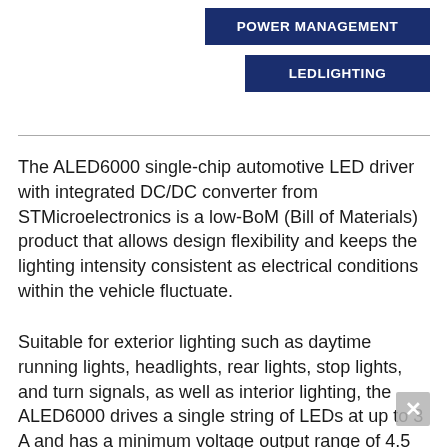[Figure (other): Two dark navy blue tag/button labels: 'POWER MANAGEMENT' and 'LEDLIGHTING', positioned in upper right area of the page]
The ALED6000 single-chip automotive LED driver with integrated DC/DC converter from STMicroelectronics is a low-BoM (Bill of Materials) product that allows design flexibility and keeps the lighting intensity consistent as electrical conditions within the vehicle fluctuate.
Suitable for exterior lighting such as daytime running lights, headlights, rear lights, stop lights, and turn signals, as well as interior lighting, the ALED6000 drives a single string of LEDs at up to 3 A and has a minimum voltage output range of 4.5 to...